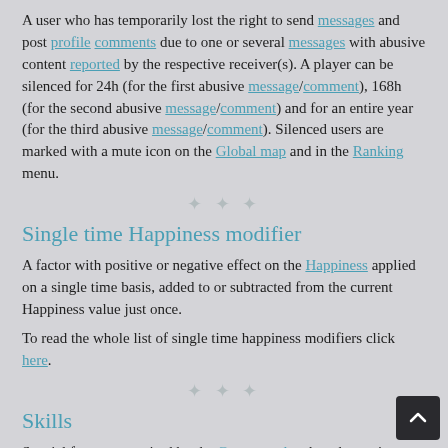A user who has temporarily lost the right to send messages and post profile comments due to one or several messages with abusive content reported by the respective receiver(s). A player can be silenced for 24h (for the first abusive message/comment), 168h (for the second abusive message/comment) and for an entire year (for the third abusive message/comment). Silenced users are marked with a mute icon on the Global map and in the Ranking menu.
Single time Happiness modifier
A factor with positive or negative effect on the Happiness applied on a single time basis, added to or subtracted from the current Happiness value just once.
To read the whole list of single time happiness modifiers click here.
Skills
Special features acquired by the Great people when they gain a new level of experience at the posts of governor and general. When a governor/general reaches next level of experience, the selection of a new skill is opened and the player can choose between skills. All skills have 5 grades (or levels) so after acquiring the first skill for the post, the